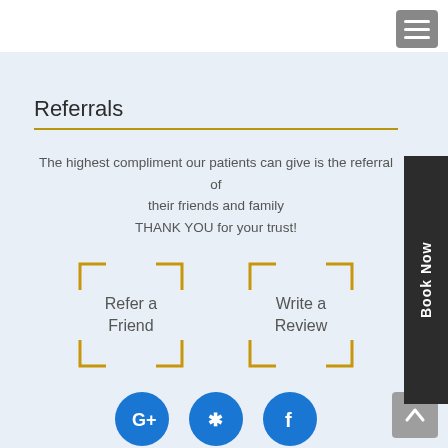[Figure (other): Hamburger menu icon button in gray rounded square, top right corner]
[Figure (other): Book Now vertical tab button in dark charcoal on right side]
Referrals
The highest compliment our patients can give is the referral of their friends and family
THANK YOU for your trust!
[Figure (other): Two gold corner-bracketed boxes: 'Refer a Friend' and 'Write a Review']
[Figure (other): Three social media icons: Google+, Yelp, Facebook in blue circles]